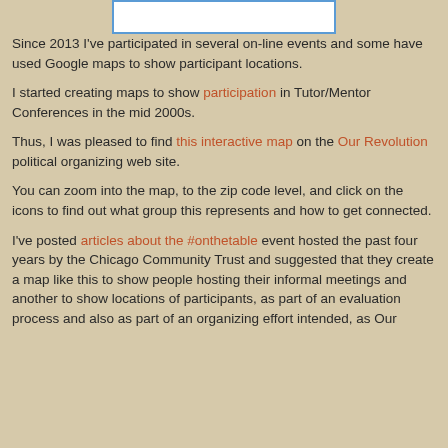[Figure (screenshot): Partial screenshot of a map or web element at the top of the page, shown as a white rectangle with blue border]
Since 2013 I've participated in several on-line events and some have used Google maps to show participant locations.
I started creating maps to show participation in Tutor/Mentor Conferences in the mid 2000s.
Thus, I was pleased to find this interactive map on the Our Revolution political organizing web site.
You can zoom into the map, to the zip code level, and click on the icons to find out what group this represents and how to get connected.
I've posted articles about the #onthetable event hosted the past four years by the Chicago Community Trust and suggested that they create a map like this to show people hosting their informal meetings and another to show locations of participants, as part of an evaluation process and also as part of an organizing effort intended, as Our